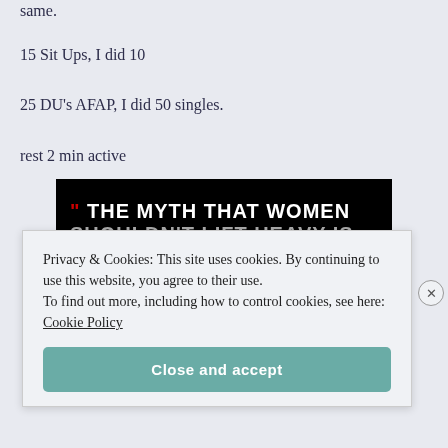same.
15 Sit Ups, I did 10
25 DU's AFAP, I did 50 singles.
rest 2 min active
[Figure (photo): Black background motivational image with white bold uppercase text reading: " THE MYTH THAT WOMEN SHOULDN'T LIFT HEAVY IS ONLY (partially visible)]
Privacy & Cookies: This site uses cookies. By continuing to use this website, you agree to their use.
To find out more, including how to control cookies, see here: Cookie Policy
Close and accept